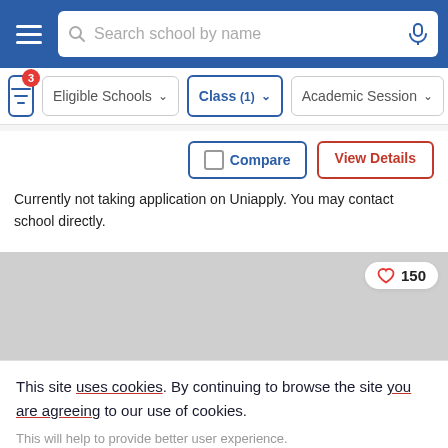Search school by name
Eligible Schools | Class (1) | Academic Session
Compare | View Details
Currently not taking application on Uniapply. You may contact school directly.
[Figure (screenshot): Gray placeholder card with heart icon and count 150]
This site uses cookies. By continuing to browse the site you are agreeing to our use of cookies.
This will help to provide better user experience.
Ok, I Understand